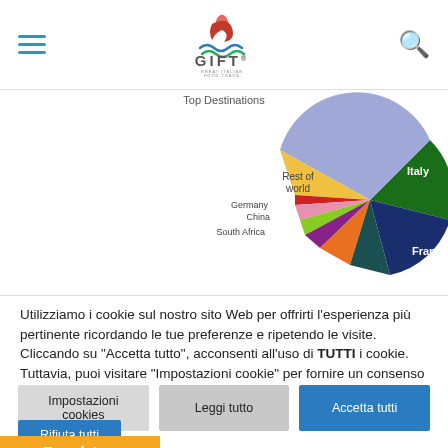[Figure (logo): GIFT Great Italian Food Trade logo with stylized flame/wave icon above the text]
[Figure (pie-chart): Partial pie chart showing country segments: Italy (large dark green), France (dark blue), Rest of world (light blue/purple), Germany (yellow-orange), China (red), South Africa and others (various small slices)]
Utilizziamo i cookie sul nostro sito Web per offrirti l'esperienza più pertinente ricordando le tue preferenze e ripetendo le visite. Cliccando su "Accetta tutto", acconsenti all'uso di TUTTI i cookie. Tuttavia, puoi visitare "Impostazioni cookie" per fornire un consenso controllato.
Impostazioni cookies
Leggi tutto
Accetta tutti
Rifiuta tutti
Translate »